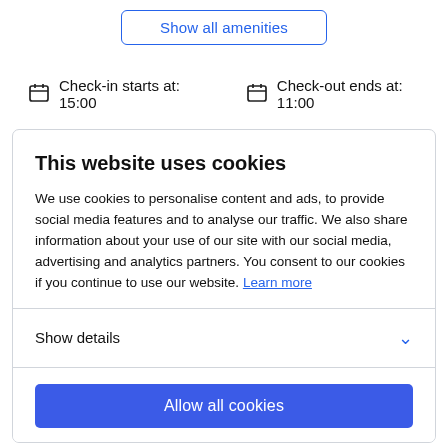Show all amenities
Check-in starts at: 15:00   Check-out ends at: 11:00
This website uses cookies
We use cookies to personalise content and ads, to provide social media features and to analyse our traffic. We also share information about your use of our site with our social media, advertising and analytics partners. You consent to our cookies if you continue to use our website. Learn more
Show details
Allow all cookies